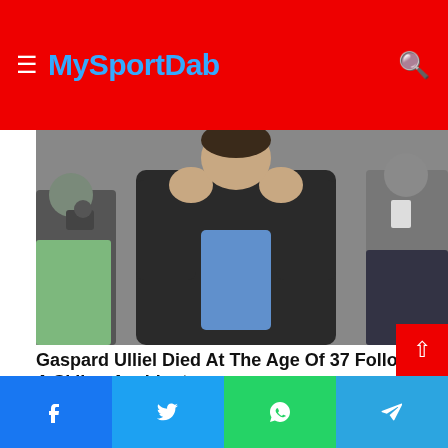MySportDab
[Figure (photo): Man in dark jacket with hands clasped near face, photographers in background]
Gaspard Ulliel Died At The Age Of 37 Following A Skiing Accident
Herbeauty
[Figure (photo): Colorful sea creature (fireworm/polychaete worm) on sandy ocean floor with blue-green water background]
Facebook | Twitter | WhatsApp | Telegram social share buttons